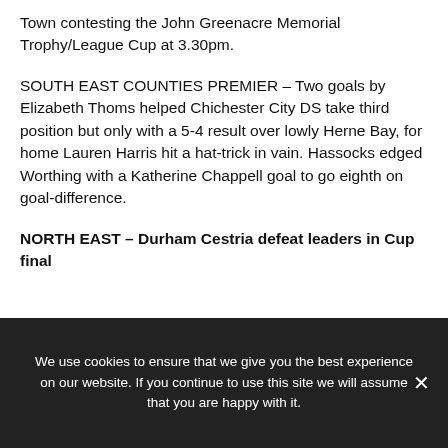Town contesting the John Greenacre Memorial Trophy/League Cup at 3.30pm.
SOUTH EAST COUNTIES PREMIER – Two goals by Elizabeth Thoms helped Chichester City DS take third position but only with a 5-4 result over lowly Herne Bay, for home Lauren Harris hit a hat-trick in vain. Hassocks edged Worthing with a Katherine Chappell goal to go eighth on goal-difference.
NORTH EAST – Durham Cestria defeat leaders in Cup final
[Figure (photo): Partial photo of a sports ground or building exterior showing greenery, dark fencing, and brick structure]
We use cookies to ensure that we give you the best experience on our website. If you continue to use this site we will assume that you are happy with it.